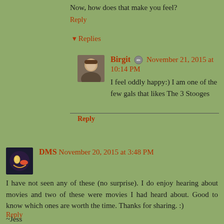Now, how does that make you feel?
Reply
▾ Replies
Birgit 🖉 November 21, 2015 at 10:14 PM
I feel oddly happy:) I am one of the few gals that likes The 3 Stooges
Reply
DMS November 20, 2015 at 3:48 PM
I have not seen any of these (no surprise). I do enjoy hearing about movies and two of these were movies I had heard about. Good to know which ones are worth the time. Thanks for sharing. :)
~Jess
Reply